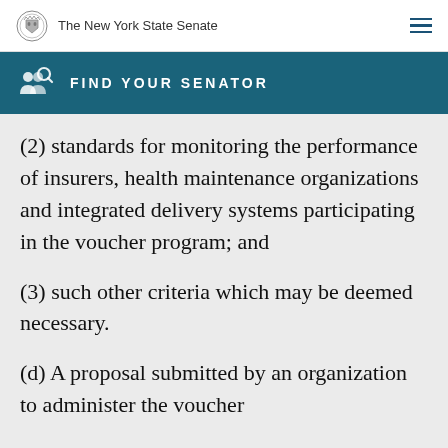The New York State Senate
FIND YOUR SENATOR
(2) standards for monitoring the performance of insurers, health maintenance organizations and integrated delivery systems participating in the voucher program; and
(3) such other criteria which may be deemed necessary.
(d) A proposal submitted by an organization to administer the voucher